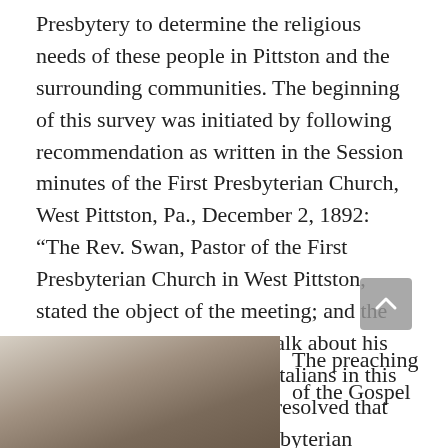Presbytery to determine the religious needs of these people in Pittston and the surrounding communities. The beginning of this survey was initiated by following recommendation as written in the Session minutes of the First Presbyterian Church, West Pittston, Pa., December 2, 1892: “The Rev. Swan, Pastor of the First Presbyterian Church in West Pittston, stated the object of the meeting; and the Rev. D’Anna gave a short talk about his experiences in visiting the Italians in this locality. On motion, it was resolved that the East and West Side Presbyterian Churches agree to sustain the Italian Missionary in this field at an expense of twenty-five dollars per month for four months in order to give the matter a fair trial.”
[Figure (photo): Partial grayscale photograph, bottom-left of page, showing a person, partially visible.]
The preaching of the Gospel